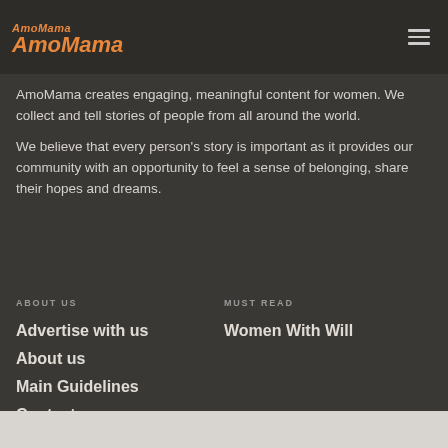[Figure (logo): AmoMama logo in orange italic script, two lines: small text 'AmoMama' and larger stylized 'AmoMama' below]
AmoMama creates engaging, meaningful content for women. We collect and tell stories of people from all around the world.
We believe that every person's story is important as it provides our community with an opportunity to feel a sense of belonging, share their hopes and dreams.
ABOUT US
MUST READ
Advertise with us
Women With Will
About us
Main Guidelines
Contact us